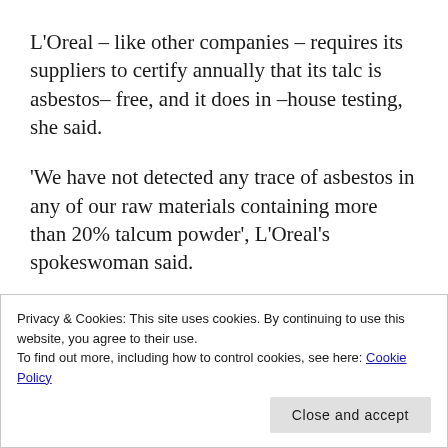L'Oreal – like other companies – requires its suppliers to certify annually that its talc is asbestos– free, and it does in –house testing, she said.
'We have not detected any trace of asbestos in any of our raw materials containing more than 20% talcum powder', L'Oreal's spokeswoman said.
Other personal care companies have also stopped selling talc powder. Germany's Beiersdorf said it switched to corn starch in its
Privacy & Cookies: This site uses cookies. By continuing to use this website, you agree to their use.
To find out more, including how to control cookies, see here: Cookie Policy
said.